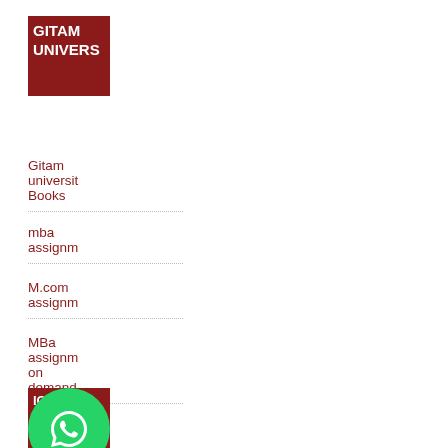[Figure (logo): GITAM UNIVERSITY logo — dark red background with white bold text reading GITAM UNIVERS (truncated)]
Gitam university Books
mba assignm
M.com assignm
MBa assignm on demand
[Figure (logo): ICFAI UNIVERSITY logo — dark red background with white bold text reading ICFAI UNIVERS (truncated), overlaid with a green WhatsApp circle button]
Papers